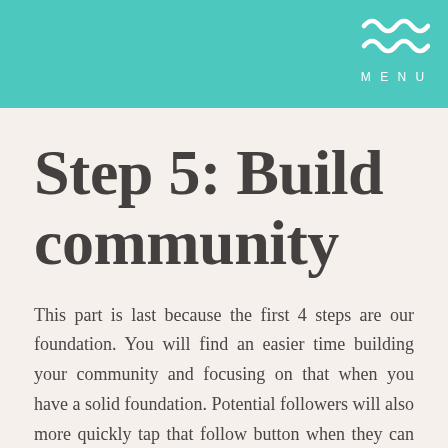MENU
Step 5: Build community
This part is last because the first 4 steps are our foundation. You will find an easier time building your community and focusing on that when you have a solid foundation. Potential followers will also more quickly tap that follow button when they can see that foundation too. So now we can dive into